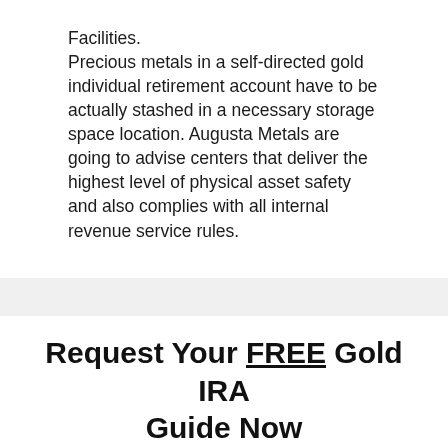Facilities. Precious metals in a self-directed gold individual retirement account have to be actually stashed in a necessary storage space location. Augusta Metals are going to advise centers that deliver the highest level of physical asset safety and also complies with all internal revenue service rules.
Request Your FREE Gold IRA Guide Now
And Discover How Easy It Is To Protect & Secure Your